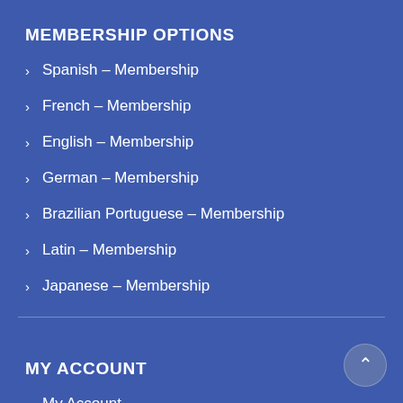MEMBERSHIP OPTIONS
Spanish – Membership
French – Membership
English – Membership
German – Membership
Brazilian Portuguese – Membership
Latin – Membership
Japanese – Membership
MY ACCOUNT
My Account